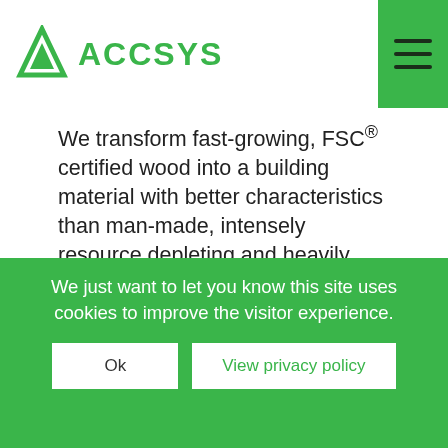ACCSYS
We transform fast-growing, FSC® certified wood into a building material with better characteristics than man-made, intensely resource depleting and heavily carbon-polluting alternatives.
Learn more
Group Revenue¹
We just want to let you know this site uses cookies to improve the visitor experience.
Ok  View privacy policy